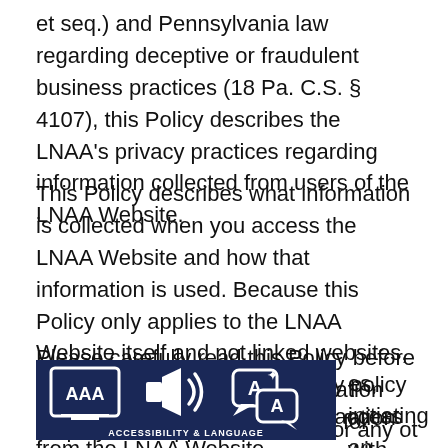et seq.) and Pennsylvania law regarding deceptive or fraudulent business practices (18 Pa. C.S. § 4107), this Policy describes the LNAA's privacy practices regarding information collected from users of the LNAA Website.
This Policy describes what information is collected when you access the LNAA Website and how that information is used. Because this Policy only applies to the LNAA Website itself and not linked websites, you should examine the privacy policy of any other websites that you access from the LNAA Website.
Please carefully read this Policy before submitting any personal information (including your e-mail address) for [services], initiating an online [transaction] with respect to employment opportunities, or for any other reason
[Figure (infographic): Accessibility & Language bar with icons for text size (AAA), audio/speaker, and translate/language. Dark navy blue background with white icons and bold label 'ACCESSIBILITY & LANGUAGE'.]